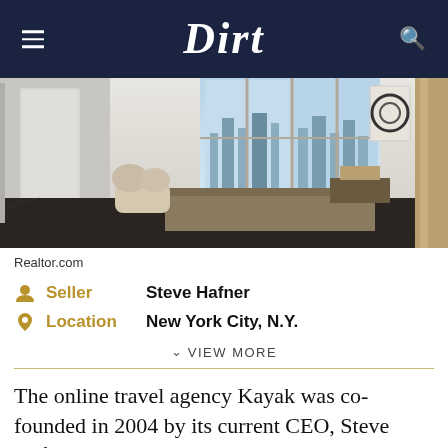Dirt
[Figure (photo): Interior of a modern luxury apartment with dark herringbone wood floors, floor-to-ceiling windows with city views, and contemporary furniture]
Realtor.com
Seller   Steve Hafner
Location   New York City, N.Y.
VIEW MORE
The online travel agency Kayak was co-founded in 2004 by its current CEO, Steve Hafner, who had previously co-